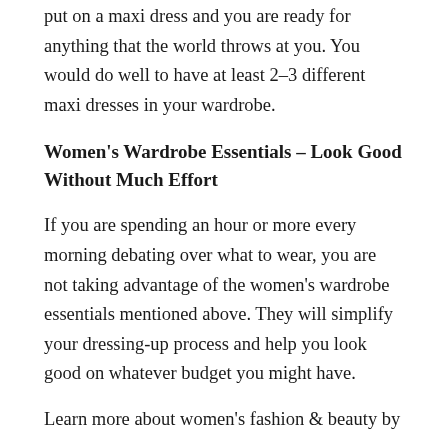put on a maxi dress and you are ready for anything that the world throws at you. You would do well to have at least 2–3 different maxi dresses in your wardrobe.
Women's Wardrobe Essentials – Look Good Without Much Effort
If you are spending an hour or more every morning debating over what to wear, you are not taking advantage of the women's wardrobe essentials mentioned above. They will simplify your dressing-up process and help you look good on whatever budget you might have.
Learn more about women's fashion & beauty by